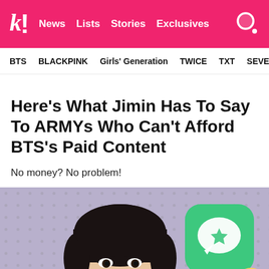k! News  Lists  Stories  Exclusives
BTS  BLACKPINK  Girls' Generation  TWICE  TXT  SEVE
Here's What Jimin Has To Say To ARMYs Who Can't Afford BTS's Paid Content
No money? No problem!
[Figure (photo): Photo of Jimin (BTS member) with dark bowl-cut hair and an ear piercing, in front of a purple/grey background, alongside a green chat app icon with a star speech bubble and an emoji character]